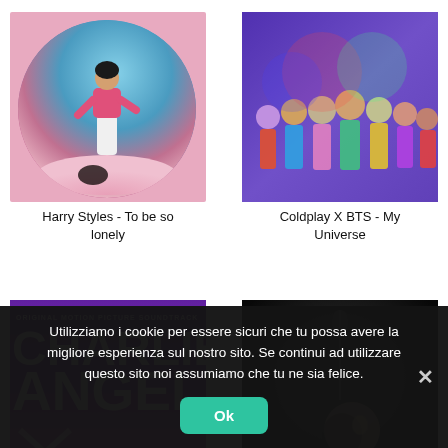[Figure (photo): Harry Styles album cover - person in pink shirt and white pants floating in a pastel pink/blue circular scene]
[Figure (photo): Coldplay X BTS - group of people on purple/violet background with colorful lighting]
Harry Styles - To be so lonely
Coldplay X BTS - My Universe
[Figure (photo): Charlie's Angels original motion picture soundtrack - purple and pink gradient with text overlay]
[Figure (photo): Dark portrait of a singer/performer in low light]
Utilizziamo i cookie per essere sicuri che tu possa avere la migliore esperienza sul nostro sito. Se continui ad utilizzare questo sito noi assumiamo che tu ne sia felice.
Ok